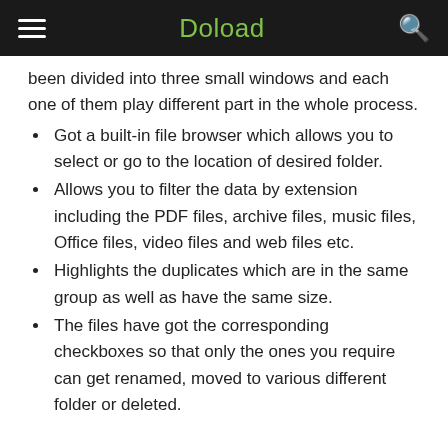Doload
been divided into three small windows and each one of them play different part in the whole process.
Got a built-in file browser which allows you to select or go to the location of desired folder.
Allows you to filter the data by extension including the PDF files, archive files, music files, Office files, video files and web files etc.
Highlights the duplicates which are in the same group as well as have the same size.
The files have got the corresponding checkboxes so that only the ones you require can get renamed, moved to various different folder or deleted.
WebMinds Duplicate Finder Technical Details and